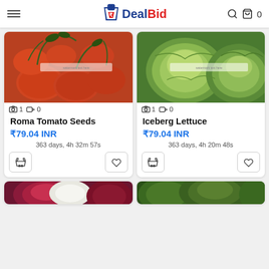DealBid — navigation header with hamburger menu, logo, search and cart (0 items)
[Figure (photo): Roma Tomato Seeds product image — red roma tomatoes on vine]
📷 1 🎬 0
Roma Tomato Seeds
₹79.04 INR
363 days, 4h 32m 57s
[Figure (photo): Iceberg Lettuce product image — green iceberg lettuce heads]
📷 1 🎬 0
Iceberg Lettuce
₹79.04 INR
363 days, 4h 20m 48s
[Figure (photo): Partial product image — radish/beet vegetable, partially visible]
[Figure (photo): Partial product image — green vegetable, partially visible]